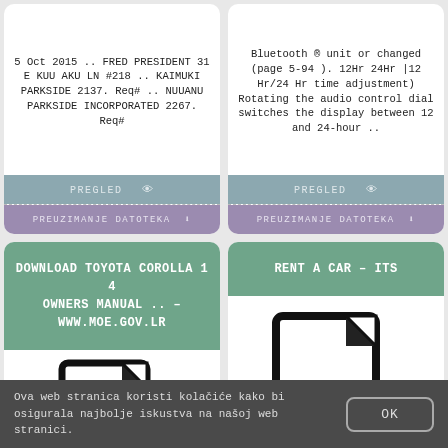5 Oct 2015 .. FRED PRESIDENT 31 E KUU AKU LN #218 .. KAIMUKI PARKSIDE 2137. Req# .. NUUANU PARKSIDE INCORPORATED 2267. Req#
PREGLED
PREUZIMANJE DATOTEKA
Bluetooth ® unit or changed (page 5-94 ). 12Hr 24Hr |12 Hr/24 Hr time adjustment) Rotating the audio control dial switches the display between 12 and 24-hour ..
PREGLED
PREUZIMANJE DATOTEKA
DOWNLOAD TOYOTA COROLLA 1 4 OWNERS MANUAL .. – WWW.MOE.GOV.LR
[Figure (illustration): PDF file icon — document shape with folded corner and bold 'PDF' label, black on white]
RENT A CAR – ITS
[Figure (illustration): PDF file icon — document shape with folded corner and bold 'PDF' label, black on white]
Ova web stranica koristi kolačiće kako bi osigurala najbolje iskustva na našoj web stranici.
OK